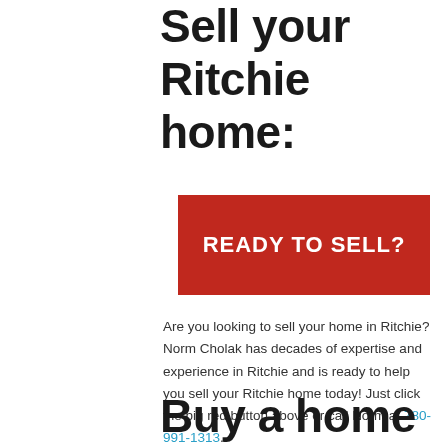Sell your Ritchie home:
[Figure (other): Red button with white bold text reading 'READY TO SELL?']
Are you looking to sell your home in Ritchie? Norm Cholak has decades of expertise and experience in Ritchie and is ready to help you sell your Ritchie home today! Just click the big red button above or call Norm at 780-991-1313.
Buy a home in Ritchie: